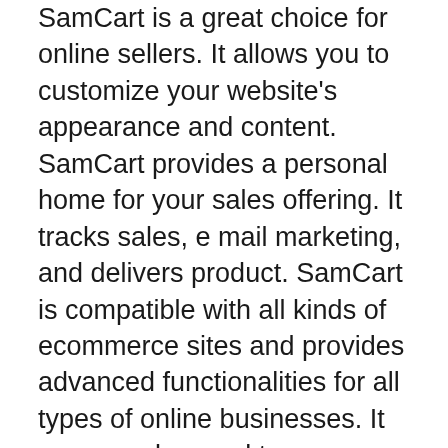SamCart is a great choice for online sellers. It allows you to customize your website's appearance and content. SamCart provides a personal home for your sales offering. It tracks sales, e mail marketing, and delivers product. SamCart is compatible with all kinds of ecommerce sites and provides advanced functionalities for all types of online businesses. It can even be used to manage an affiliate program. The best part is, SamCart is extremely flexible and offers best-in-class adaptive measures.
SamCart allows you to test product prices using AB tests. While most checkout software requires you to publish your page before you can test its functionality, SamCart allows you to run test sales funnels and